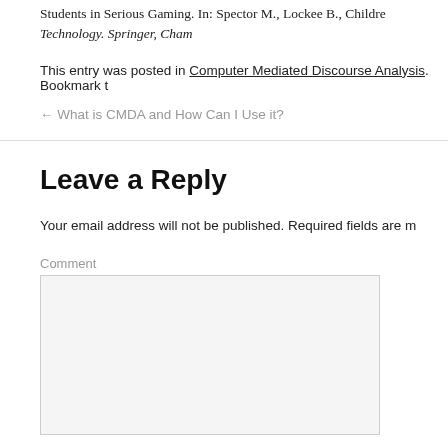Students in Serious Gaming. In: Spector M., Lockee B., Childress… Technology. Springer, Cham
This entry was posted in Computer Mediated Discourse Analysis. Bookmark t…
← What is CMDA and How Can I Use it?
Leave a Reply
Your email address will not be published. Required fields are m…
Comment